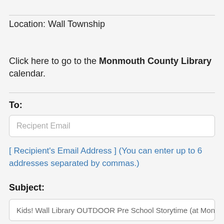Location: Wall Township
Click here to go to the Monmouth County Library calendar.
To:
Recipent Email
[ Recipient's Email Address ] (You can enter up to 6 addresses separated by commas.)
Subject:
Kids! Wall Library OUTDOOR Pre School Storytime (at Monmouth